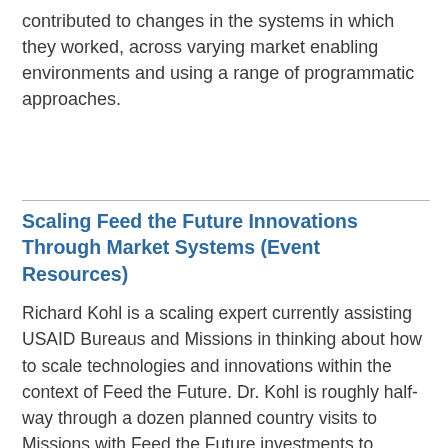contributed to changes in the systems in which they worked, across varying market enabling environments and using a range of programmatic approaches.
Scaling Feed the Future Innovations Through Market Systems (Event Resources)
Richard Kohl is a scaling expert currently assisting USAID Bureaus and Missions in thinking about how to scale technologies and innovations within the context of Feed the Future. Dr. Kohl is roughly half-way through a dozen planned country visits to Missions with Feed the Future investments to provide recommendations on scaling innovations, be they technologies or